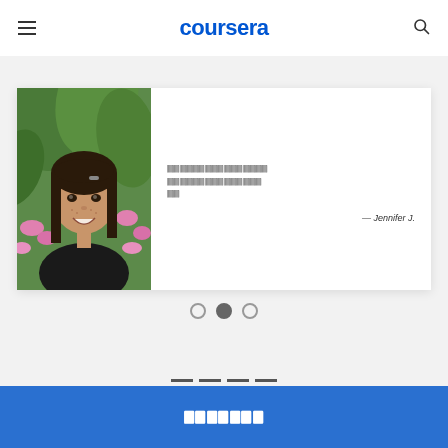coursera
[Figure (photo): Portrait photo of a young woman with long dark hair, smiling, with green foliage and pink flowers in background]
🀫🀫🀫🀫🀫🀫🀫🀫🀫🀫🀫🀫🀫🀫🀫🀫 🀫🀫🀫🀫🀫🀫🀫🀫🀫🀫🀫🀫🀫🀫🀫 🀫🀫 — Jennifer J.
🀫🀫🀫🀫🀫🀫🀫